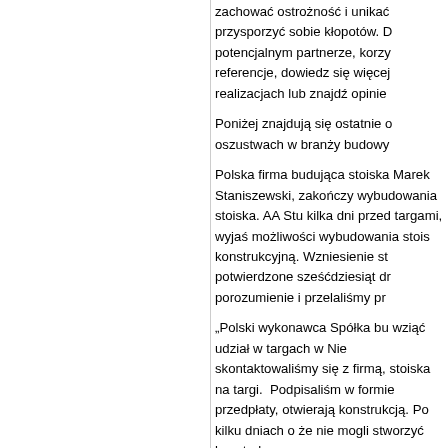zachować ostrożność i unikać przysporzyć sobie kłopotów. Dowiedz się więcej o potencjalnym partnerze, korzystając z referencji, dowiedz się więcej o poprzednich realizacjach lub znajdź opinie
Poniżej znajdują się ostatnie doniesienia o oszustwach w branży budowy stoisk.
Polska firma budująca stoiska targowe, Marek Staniszewski, zakończyła kontrakty wybudowania stoiska. AA Studio, poinformowała kilka dni przed targami, wyjaśniając brak możliwości wybudowania stoiska z powodów konstrukcyjną. Wzniesienie stoiska zostało potwierdzone sześćdziesiąt dni wcześniej, porozumienie i przelaliśmy przed
„Polski wykonawca Spółka budowlana, chciała wziąć udział w targach w Niemczech. Kiedy skontaktowaliśmy się z firmą, oferującą budowanie stoiska na targi.  Podpisaliśmy kontrakt i wpłaciliśmy w formie przedpłaty, otwierającą budowę stoiska razem z konstrukcją. Po kilku dniach otrzymaliśmy informację, że nie mogli stworzyć konstruk
Następnie czekali przez pona